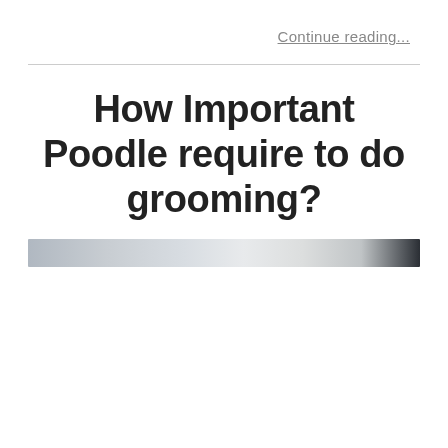Continue reading...
How Important Poodle require to do grooming?
[Figure (photo): Cropped photo strip showing a dog, likely a poodle, blurred background with dark and light tones]